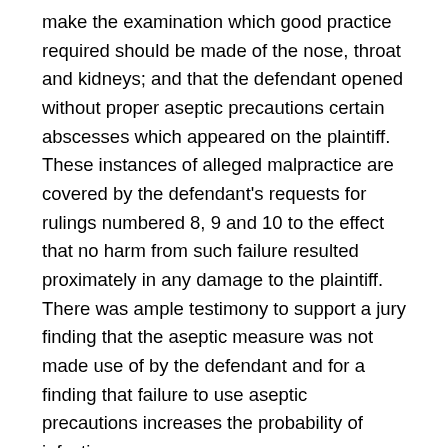make the examination which good practice required should be made of the nose, throat and kidneys; and that the defendant opened without proper aseptic precautions certain abscesses which appeared on the plaintiff. These instances of alleged malpractice are covered by the defendant's requests for rulings numbered 8, 9 and 10 to the effect that no harm from such failure resulted proximately in any damage to the plaintiff. There was ample testimony to support a jury finding that the aseptic measure was not made use of by the defendant and for a finding that failure to use aseptic precautions increases the probability of infection.
It is the plaintiff's contention and is supported by testimony, that the defendant should not have opened